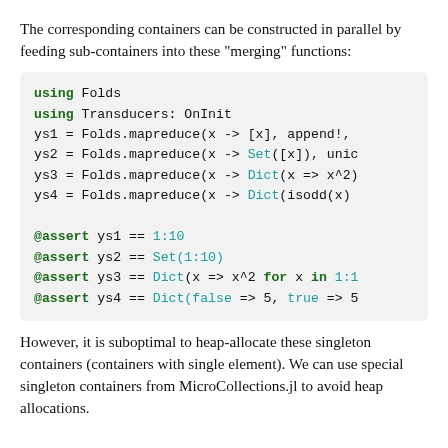The corresponding containers can be constructed in parallel by feeding sub-containers into these "merging" functions:
using Folds
using Transducers: OnInit
ys1 = Folds.mapreduce(x -> [x], append!,
ys2 = Folds.mapreduce(x -> Set([x]), union
ys3 = Folds.mapreduce(x -> Dict(x => x^2)
ys4 = Folds.mapreduce(x -> Dict(isodd(x)

@assert ys1 == 1:10
@assert ys2 == Set(1:10)
@assert ys3 == Dict(x => x^2 for x in 1:1
@assert ys4 == Dict(false => 5, true => 5
However, it is suboptimal to heap-allocate these singleton containers (containers with single element). We can use special singleton containers from MicroCollections.jl to avoid heap allocations.